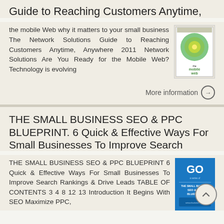Guide to Reaching Customers Anytime,
the mobile Web why it matters to your small business The Network Solutions Guide to Reaching Customers Anytime, Anywhere 2011 Network Solutions Are You Ready for the Mobile Web? Technology is evolving
[Figure (illustration): Book cover image for 'The Mobile Web' guide with colorful circular design]
More information →
THE SMALL BUSINESS SEO & PPC BLUEPRINT. 6 Quick & Effective Ways For Small Businesses To Improve Search
THE SMALL BUSINESS SEO & PPC BLUEPRINT 6 Quick & Effective Ways For Small Businesses To Improve Search Rankings & Drive Leads TABLE OF CONTENTS 3 4 8 12 13 Introduction It Begins With SEO Maximize PPC,
[Figure (illustration): Book cover for 'The Small Business SEO & PPC Blueprint' with blue background and 'GO' text]